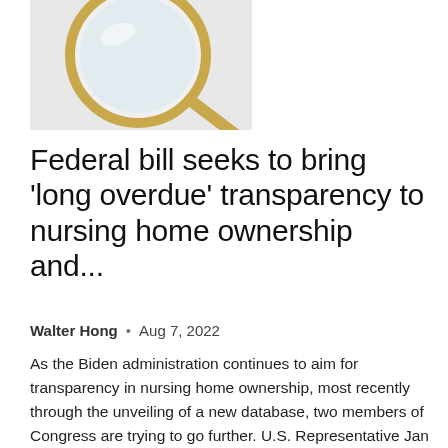[Figure (photo): Partial photo of a magnifying glass with gold rim on a light gray/white background, cropped at top]
Federal bill seeks to bring ‘long overdue’ transparency to nursing home ownership and...
Walter Hong • Aug 7, 2022
As the Biden administration continues to aim for transparency in nursing home ownership, most recently through the unveiling of a new database, two members of Congress are trying to go further. U.S. Representative Jan Schakowsky of...
[Figure (photo): Partial photo of a woman with long brown hair wearing a dark jacket, against a warm blurred background]